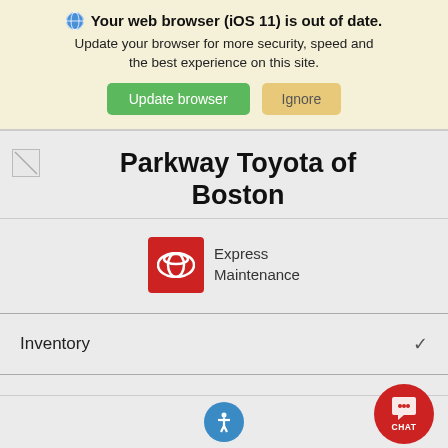🌐 Your web browser (iOS 11) is out of date. Update your browser for more security, speed and the best experience on this site.
[Figure (screenshot): Two buttons: green 'Update browser' and tan 'Ignore']
[Figure (logo): Parkway Toyota of Boston dealership logo placeholder image]
Parkway Toyota of Boston
[Figure (logo): Toyota Express Maintenance logo with red Toyota badge]
Inventory
Service & Parts
[Figure (other): Accessibility icon (blue circle with person symbol) and red CHAT button]